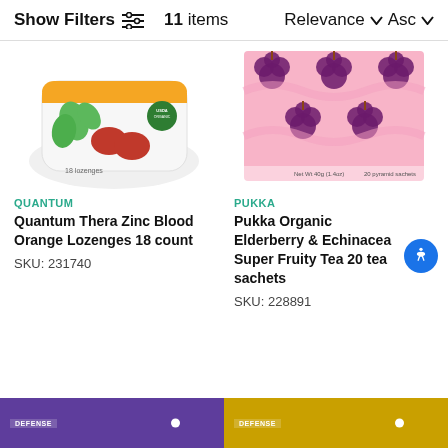Show Filters  11 items  Relevance ∨ Asc ∨
[Figure (photo): Quantum Thera Zinc Blood Orange Lozenges package, white bag with red lozenges and USDA Organic seal]
QUANTUM
Quantum Thera Zinc Blood Orange Lozenges 18 count
SKU: 231740
[Figure (photo): Pukka Organic Elderberry & Echinacea Super Fruity Tea box with pink and purple grape pattern, 20 tea sachets]
PUKKA
Pukka Organic Elderberry & Echinacea Super Fruity Tea 20 tea sachets
SKU: 228891
[Figure (photo): Purple product package partially visible at bottom left]
[Figure (photo): Yellow/gold product package partially visible at bottom right]